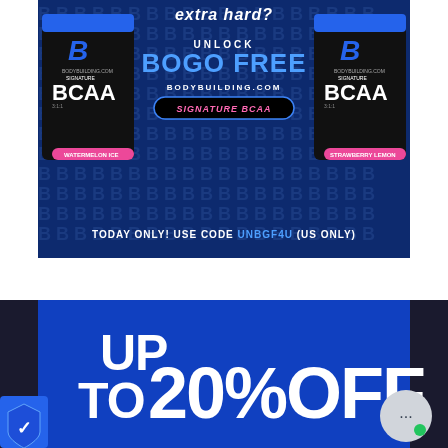[Figure (infographic): Bodybuilding.com advertisement banner for Signature BCAA product. Dark blue background with two black supplement containers on left and right sides. Center text reads: 'extra hard?' at top, 'UNLOCK', 'BOGO FREE', 'BODYBUILDING.COM', 'SIGNATURE BCAA' button in pink text on black oval. Bottom text: 'TODAY ONLY! USE CODE UNBGF4U (US ONLY)']
[Figure (infographic): Bodybuilding.com advertisement banner. Dark blue background with large white bold text reading 'UP TO 20% OFF'. A chat bubble icon and shield/checkmark icon are visible overlaid on the banner.]